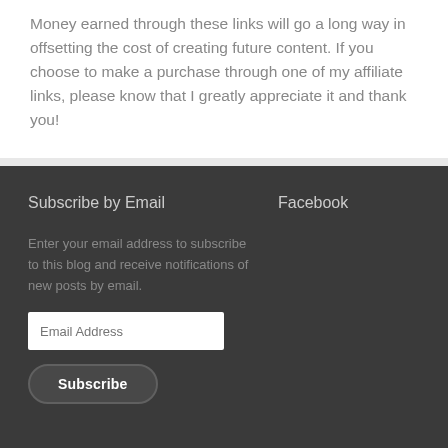Money earned through these links will go a long way in offsetting the cost of creating future content. If you choose to make a purchase through one of my affiliate links, please know that I greatly appreciate it and thank you!
Subscribe by Email
Facebook
Enter your email address to subscribe to this blog and receive notifications of new posts by email.